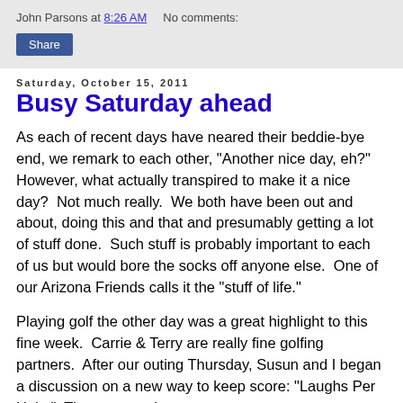John Parsons at 8:26 AM   No comments:
Share
Saturday, October 15, 2011
Busy Saturday ahead
As each of recent days have neared their beddie-bye end, we remark to each other, "Another nice day, eh?"  However, what actually transpired to make it a nice day?  Not much really.  We both have been out and about, doing this and that and presumably getting a lot of stuff done.  Such stuff is probably important to each of us but would bore the socks off anyone else.  One of our Arizona Friends calls it the "stuff of life."
Playing golf the other day was a great highlight to this fine week.  Carrie & Terry are really fine golfing partners.  After our outing Thursday, Susun and I began a discussion on a new way to keep score: "Laughs Per Hole."  The person who